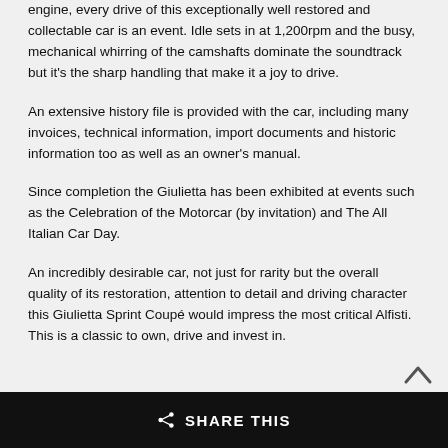engine, every drive of this exceptionally well restored and collectable car is an event. Idle sets in at 1,200rpm and the busy, mechanical whirring of the camshafts dominate the soundtrack but it's the sharp handling that make it a joy to drive.
An extensive history file is provided with the car, including many invoices, technical information, import documents and historic information too as well as an owner's manual.
Since completion the Giulietta has been exhibited at events such as the Celebration of the Motorcar (by invitation) and The All Italian Car Day.
An incredibly desirable car, not just for rarity but the overall quality of its restoration, attention to detail and driving character this Giulietta Sprint Coupé would impress the most critical Alfisti. This is a classic to own, drive and invest in.
SHARE THIS